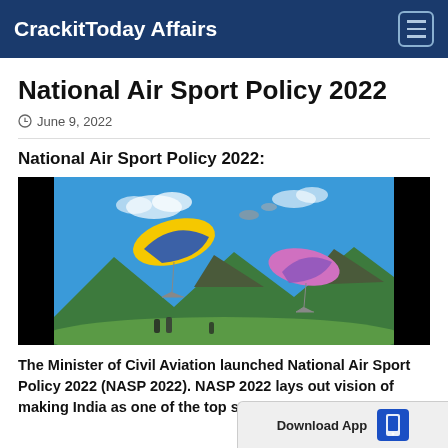CrackitToday Affairs
National Air Sport Policy 2022
June 9, 2022
National Air Sport Policy 2022:
[Figure (photo): Paragliders flying over green mountain valley with blue sky]
The Minister of Civil Aviation launched National Air Sport Policy 2022 (NASP 2022). NASP 2022 lays out vision of making India as one of the top sports nations